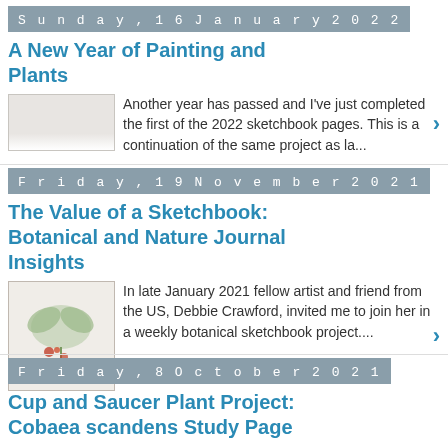Sunday, 16 January 2022
A New Year of Painting and Plants
Another year has passed and I've just completed the first of the 2022 sketchbook pages. This is a continuation of the same project as la...
Friday, 19 November 2021
The Value of a Sketchbook: Botanical and Nature Journal Insights
In late January 2021 fellow artist and friend from the US, Debbie Crawford, invited me to join her in a weekly botanical sketchbook project....
Friday, 8 October 2021
Cup and Saucer Plant Project: Cobaea scandens Study Page